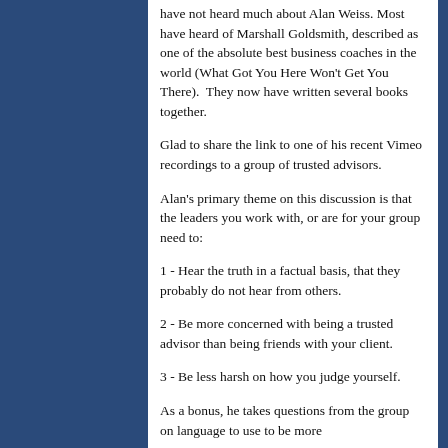have not heard much about Alan Weiss. Most have heard of Marshall Goldsmith, described as one of the absolute best business coaches in the world (What Got You Here Won't Get You There). They now have written several books together.
Glad to share the link to one of his recent Vimeo recordings to a group of trusted advisors.
Alan's primary theme on this discussion is that the leaders you work with, or are for your group need to:
1 - Hear the truth in a factual basis, that they probably do not hear from others.
2 - Be more concerned with being a trusted advisor than being friends with your client.
3 - Be less harsh on how you judge yourself.
As a bonus, he takes questions from the group on language to use to be more